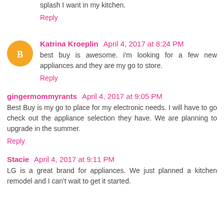splash I want in my kitchen.
Reply
Katrina Kroeplin  April 4, 2017 at 8:24 PM
best buy is awesome. i'm looking for a few new appliances and they are my go to store.
Reply
gingermommyrants  April 4, 2017 at 9:05 PM
Best Buy is my go to place for my electronic needs. I will have to go check out the appliance selection they have. We are planning to upgrade in the summer.
Reply
Stacie  April 4, 2017 at 9:11 PM
LG is a great brand for appliances. We just planned a kitchen remodel and I can't wait to get it started.